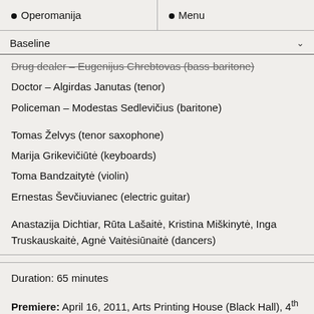• Operomanija  • Menu
Baseline
Drug dealer – Eugenijus Chrebtovas (bass-baritone)
Doctor – Algirdas Janutas (tenor)
Policeman – Modestas Sedlevičius (baritone)
Tomas Želvys (tenor saxophone)
Marija Grikevičiūtė (keyboards)
Toma Bandzaitytė (violin)
Ernestas Ševčiuvianec (electric guitar)
Anastazija Dichtiar, Rūta Lašaitė, Kristina Miškinytė, Inga Truskauskaitė, Agnė Vaitėsiūnaitė (dancers)
Duration: 65 minutes
Premiere: April 16, 2011, Arts Printing House (Black Hall), 4th